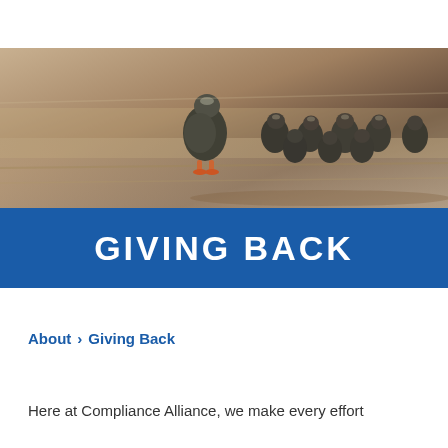[Figure (photo): Photo of a mother duck followed by several ducklings walking on a sandy surface, shot from behind in warm natural lighting]
GIVING BACK
About > Giving Back
Here at Compliance Alliance, we make every effort